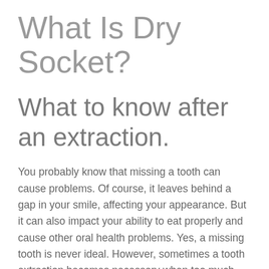What Is Dry Socket?
What to know after an extraction.
You probably know that missing a tooth can cause problems. Of course, it leaves behind a gap in your smile, affecting your appearance. But it can also impact your ability to eat properly and cause other oral health problems. Yes, a missing tooth is never ideal. However, sometimes a tooth extraction becomes necessary when too much damage or decay is present. In these instances, be aware that